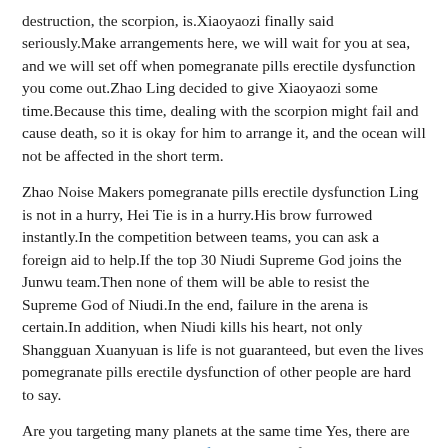destruction, the scorpion, is.Xiaoyaozi finally said seriously.Make arrangements here, we will wait for you at sea, and we will set off when pomegranate pills erectile dysfunction you come out.Zhao Ling decided to give Xiaoyaozi some time.Because this time, dealing with the scorpion might fail and cause death, so it is okay for him to arrange it, and the ocean will not be affected in the short term.
Zhao Noise Makers pomegranate pills erectile dysfunction Ling is not in a hurry, Hei Tie is in a hurry.His brow furrowed instantly.In the competition between teams, you can ask a foreign aid to help.If the top 30 Niudi Supreme God joins the Junwu team.Then none of them will be able to resist the Supreme God of Niudi.In the end, failure in the arena is certain.In addition, when Niudi kills his heart, not only Shangguan Xuanyuan is life is not guaranteed, but even the lives pomegranate pills erectile dysfunction of other people are hard to say.
Are you targeting many planets at the same time Yes, there are actually increase sensitivity of penis quite a few super danones on other planets.
The eyes of the Supreme God of Flying Eagle quickly turned, and now he broke into the camp of the black iron team without authorization.